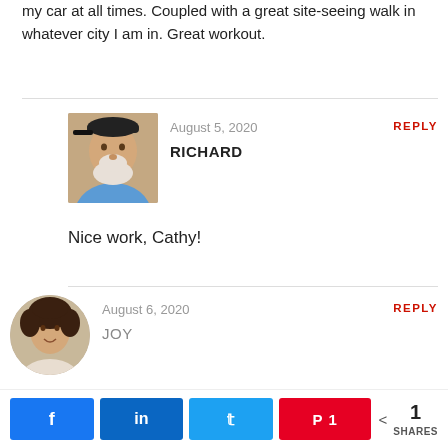my car at all times. Coupled with a great site-seeing walk in whatever city I am in. Great workout.
August 5, 2020
RICHARD
REPLY
[Figure (photo): Avatar photo of Richard, an older man with a cap and white beard, smiling]
Nice work, Cathy!
August 6, 2020
JOY
REPLY
[Figure (photo): Avatar photo of Joy, a person with curly hair]
Hello there! This is an amazing review you have got here. I am sure this quality information will be of great help to anyone who comes across this post as it is to me. For me, I always prefer traveling with the Steel Bow
< 1
SHARES